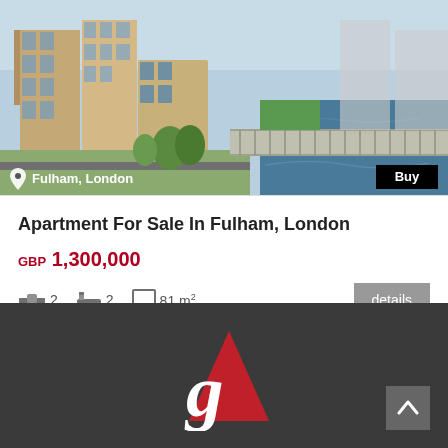[Figure (photo): Aerial/street view of modern apartment buildings in Fulham, London, with a river and walkway visible on the right side]
Apartment For Sale In Fulham, London
GBP 1,300,000
2 bedrooms, 2 bathrooms, 81 m²
[Figure (logo): gA logo — lowercase italic 'g' in white and stylized red/dark triangle 'A' on dark background]